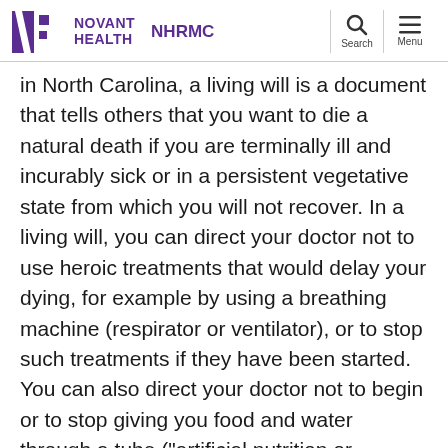Novant Health NHRMC
in North Carolina, a living will is a document that tells others that you want to die a natural death if you are terminally ill and incurably sick or in a persistent vegetative state from which you will not recover. In a living will, you can direct your doctor not to use heroic treatments that would delay your dying, for example by using a breathing machine (respirator or ventilator), or to stop such treatments if they have been started. You can also direct your doctor not to begin or to stop giving you food and water through a tube ("artificial nutrition or hydration").